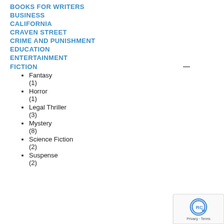BOOKS FOR WRITERS
BUSINESS
CALIFORNIA
CRAVEN STREET
CRIME AND PUNISHMENT
EDUCATION
ENTERTAINMENT
FICTION
Fantasy (1)
Horror (1)
Legal Thriller (3)
Mystery (8)
Science Fiction (2)
Suspense (2)